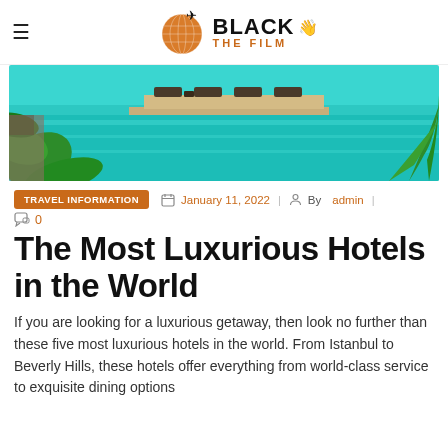BLACK THE FILM
[Figure (photo): Luxury resort pool with turquoise water, lounge chairs on a pier, and tropical plants in foreground]
TRAVEL INFORMATION   January 11, 2022   By admin   0
The Most Luxurious Hotels in the World
If you are looking for a luxurious getaway, then look no further than these five most luxurious hotels in the world. From Istanbul to Beverly Hills, these hotels offer everything from world-class service to exquisite dining options